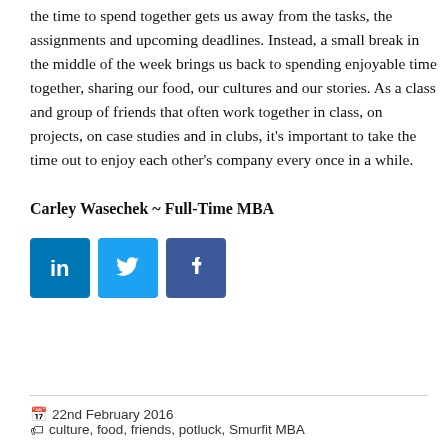the time to spend together gets us away from the tasks, the assignments and upcoming deadlines. Instead, a small break in the middle of the week brings us back to spending enjoyable time together, sharing our food, our cultures and our stories. As a class and group of friends that often work together in class, on projects, on case studies and in clubs, it's important to take the time out to enjoy each other's company every once in a while.
Carley Wasechek ~ Full-Time MBA
[Figure (other): Social media icons: LinkedIn (blue), Twitter (light blue), Facebook (blue)]
22nd February 2016   culture, food, friends, potluck, Smurfit MBA